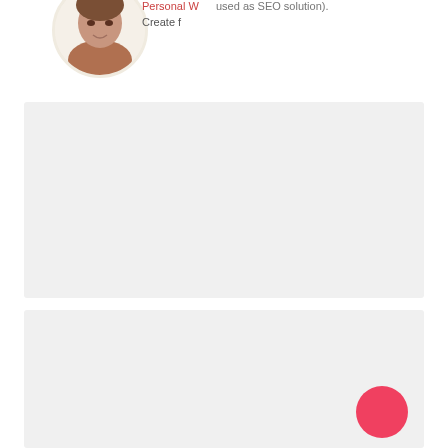[Figure (screenshot): Partial screenshot showing a circular avatar image with a person, partially cropped UI elements with red text reading 'Personal W' and gray text 'Create f', and gray text 'used as SEO solution).']
[Figure (screenshot): Light gray rectangle representing an embedded content area or advertisement block, upper portion]
[Figure (screenshot): Light gray rectangle representing an embedded content area or advertisement block, lower portion, with a pink/red circular button in the bottom-right corner]